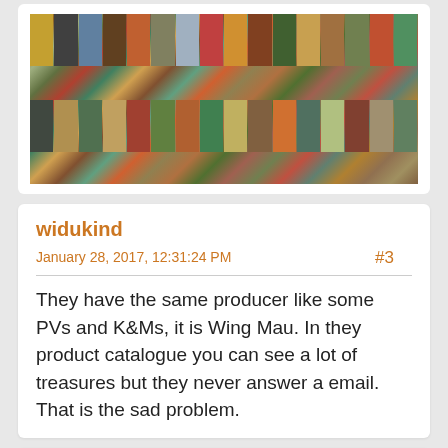[Figure (photo): A collage/grid of small animal and nature photographs, showing various birds, insects, reptiles, and other creatures in colorful close-up shots.]
widukind
January 28, 2017, 12:31:24 PM
#3
They have the same producer like some PVs and K&Ms, it is Wing Mau. In they product catalogue you can see a lot of treasures but they never answer a email. That is the sad problem.
bmathison1972
Global Moderator
January 28, 2017, 05:35:40 PM
#4
Quote from: widukind on January 28, 2017, 12:31:24 PM